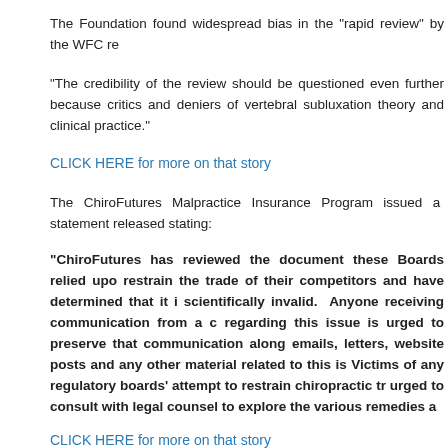The Foundation found widespread bias in the "rapid review" by the WFC re
"The credibility of the review should be questioned even further because critics and deniers of vertebral subluxation theory and clinical practice."
CLICK HERE for more on that story
The ChiroFutures Malpractice Insurance Program issued a statement released stating:
"ChiroFutures has reviewed the document these Boards relied upo restrain the trade of their competitors and have determined that it i scientifically invalid. Anyone receiving communication from a c regarding this issue is urged to preserve that communication along emails, letters, website posts and any other material related to this is Victims of any regulatory boards' attempt to restrain chiropractic tr urged to consult with legal counsel to explore the various remedies a
CLICK HERE for more on that story
In related news several members of the WFC Research Committee wh cover for those going after chiropractors using their hit piece have a